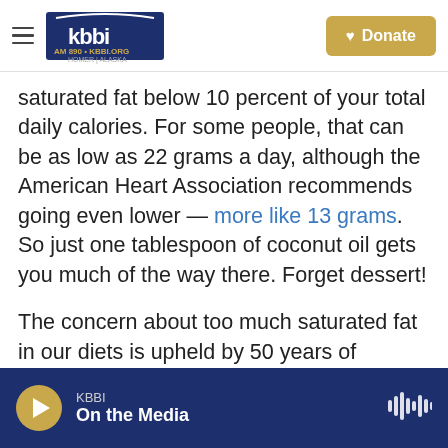KBBI AM 890 • KBBI.ORG HOMER ALASKA | Donate
saturated fat below 10 percent of your total daily calories. For some people, that can be as low as 22 grams a day, although the American Heart Association recommends going even lower — more like 13 grams. So just one tablespoon of coconut oil gets you much of the way there. Forget dessert!

The concern about too much saturated fat in our diets is upheld by 50 years of research showing that a diet high in saturated fat is associated with an increased risk of heart attack and stroke, says Alice Lichtenstein, a professor of nutrition science and policy at the Friedman School at Tufts
KBBI | On the Media